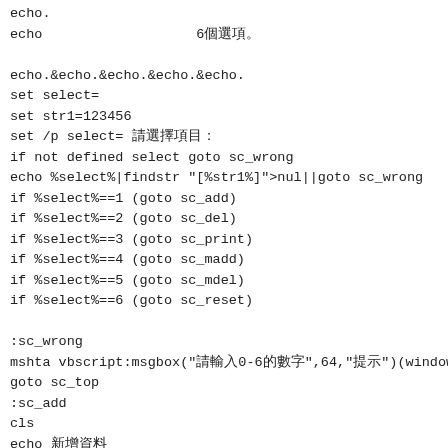echo.
echo                   6個選项。 

echo.&echo.&echo.&echo.&echo.
set select=
set str1=123456
set /p select= 請選擇項目：
if not defined select goto sc_wrong
echo %select%|findstr "[%str1%]">nul||goto sc_wrong
if %select%==1 (goto sc_add)
if %select%==2 (goto sc_del)
if %select%==3 (goto sc_print)
if %select%==4 (goto sc_madd)
if %select%==5 (goto sc_mdel)
if %select%==6 (goto sc_reset)

:sc_wrong
mshta vbscript:msgbox("請輸入0-6的數字",64,"提示")(window.c
goto sc_top
:sc_add
cls
echo 新增資料